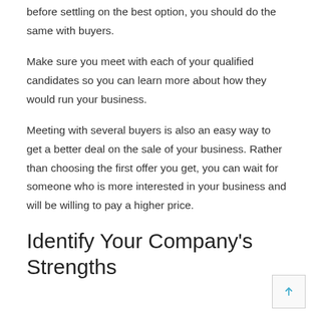before settling on the best option, you should do the same with buyers.
Make sure you meet with each of your qualified candidates so you can learn more about how they would run your business.
Meeting with several buyers is also an easy way to get a better deal on the sale of your business. Rather than choosing the first offer you get, you can wait for someone who is more interested in your business and will be willing to pay a higher price.
Identify Your Company's Strengths